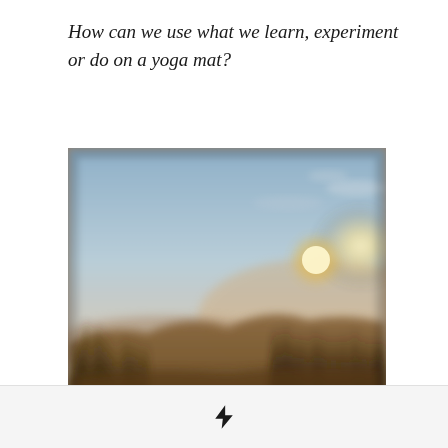How can we use what we learn, experiment or do on a yoga mat?
[Figure (photo): A blurred outdoor photograph showing a sunset or sunrise over low vegetation/grassy dunes, with a warm glowing sun in the upper right area against a pale blue-grey sky.]
⚡ (lightning bolt icon)